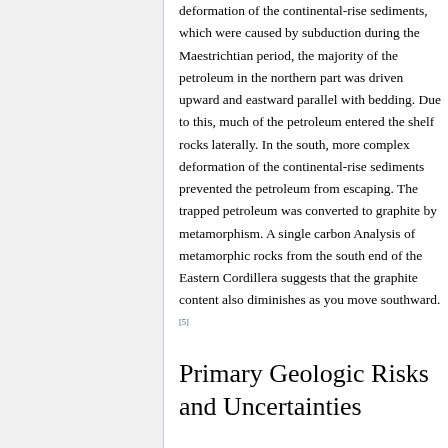deformation of the continental-rise sediments, which were caused by subduction during the Maestrichtian period, the majority of the petroleum in the northern part was driven upward and eastward parallel with bedding. Due to this, much of the petroleum entered the shelf rocks laterally. In the south, more complex deformation of the continental-rise sediments prevented the petroleum from escaping. The trapped petroleum was converted to graphite by metamorphism. A single carbon Analysis of metamorphic rocks from the south end of the Eastern Cordillera suggests that the graphite content also diminishes as you move southward.[5]
Primary Geologic Risks and Uncertainties